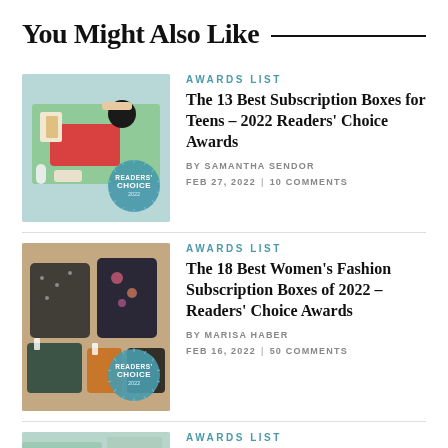You Might Also Like
[Figure (photo): Photo of subscription box items including makeup, cards, and a Readers' Choice 2022 badge overlay]
AWARDS LIST
The 13 Best Subscription Boxes for Teens – 2022 Readers' Choice Awards
BY SAMANTHA SENDOR  FEB 27, 2022  |  10 COMMENTS
[Figure (photo): Photo of women's fashion clothing items laid flat with a Readers' Choice 2022 badge overlay]
AWARDS LIST
The 18 Best Women's Fashion Subscription Boxes of 2022 – Readers' Choice Awards
BY MARISA HABER  FEB 16, 2022  |  50 COMMENTS
[Figure (photo): Partial photo of third article, teal/green tones]
AWARDS LIST